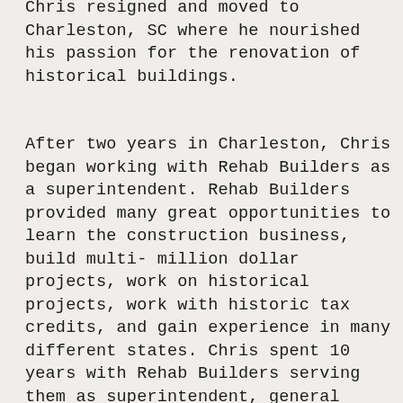Chris resigned and moved to Charleston, SC where he nourished his passion for the renovation of historical buildings.
After two years in Charleston, Chris began working with Rehab Builders as a superintendent. Rehab Builders provided many great opportunities to learn the construction business, build multi-million dollar projects, work on historical projects, work with historic tax credits, and gain experience in many different states. Chris spent 10 years with Rehab Builders serving them as superintendent, general superintendent, and as project manager.